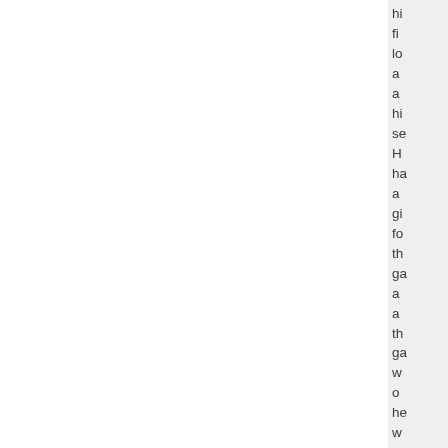hi fi lo a a hi se H ha a gi fo th ga a a th ga w o he w co he a